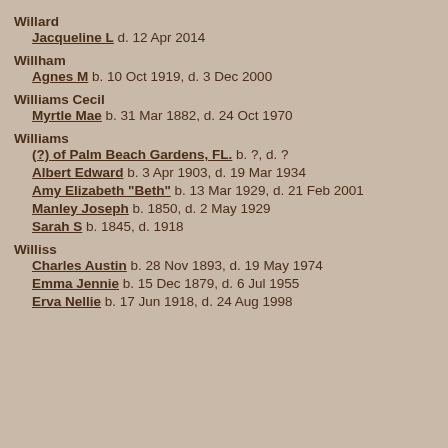Willard
Jacqueline L   d. 12 Apr 2014
Willham
Agnes M   b. 10 Oct 1919, d. 3 Dec 2000
Williams Cecil
Myrtle Mae   b. 31 Mar 1882, d. 24 Oct 1970
Williams
(?) of Palm Beach Gardens, FL.   b. ?, d. ?
Albert Edward   b. 3 Apr 1903, d. 19 Mar 1934
Amy Elizabeth "Beth"   b. 13 Mar 1929, d. 21 Feb 2001
Manley Joseph   b. 1850, d. 2 May 1929
Sarah S   b. 1845, d. 1918
Williss
Charles Austin   b. 28 Nov 1893, d. 19 May 1974
Emma Jennie   b. 15 Dec 1879, d. 6 Jul 1955
Erva Nellie   b. 17 Jun 1918, d. 24 Aug 1998